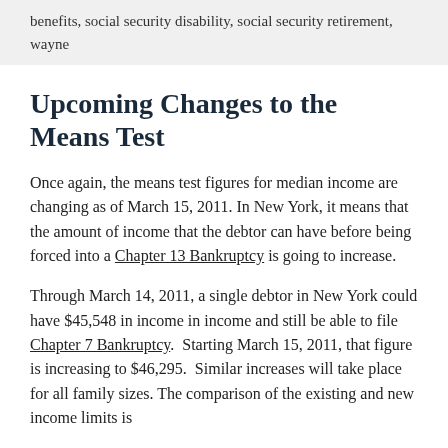benefits, social security disability, social security retirement, wayne
Upcoming Changes to the Means Test
Once again, the means test figures for median income are changing as of March 15, 2011. In New York, it means that the amount of income that the debtor can have before being forced into a Chapter 13 Bankruptcy is going to increase.
Through March14, 2011, a single debtor in New York could have $45,548 in income in income and still be able to file Chapter 7 Bankruptcy.  Starting March 15, 2011, that figure is increasing to $46,295.  Similar increases will take place for all family sizes. The comparison of the existing and new income limits is